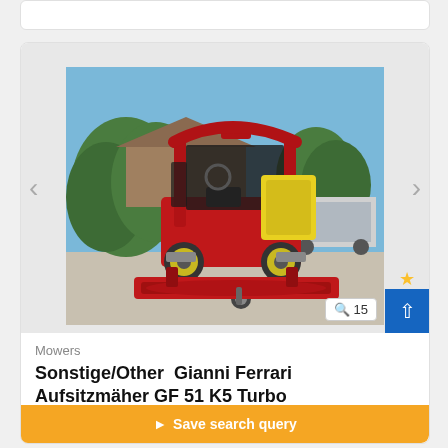[Figure (photo): Red Ferrari Gianni mower/tractor with enclosed cab and front mower deck, parked in a lot, outdoor summer setting with trees and buildings in background.]
Mowers
Sonstige/Other  Gianni Ferrari Aufsitzmäher GF 51 K5 Turbo
Save search query